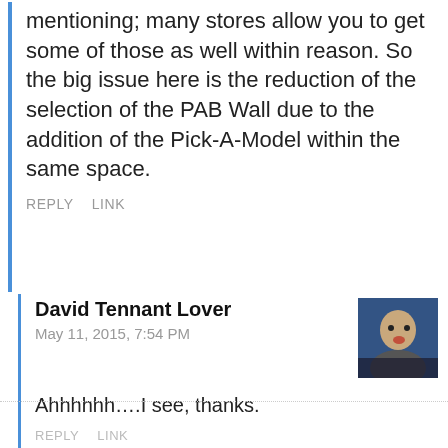mentioning; many stores allow you to get some of those as well within reason. So the big issue here is the reduction of the selection of the PAB Wall due to the addition of the Pick-A-Model within the same space.
REPLY   LINK
David Tennant Lover
May 11, 2015, 7:54 PM
Ahhhhhh….I see, thanks.
REPLY   LINK